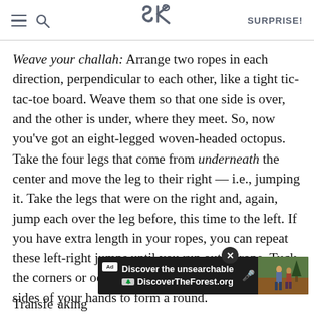SK [logo] SURPRISE!
Weave your challah: Arrange two ropes in each direction, perpendicular to each other, like a tight tic-tac-toe board. Weave them so that one side is over, and the other is under, where they meet. So, now you've got an eight-legged woven-headed octopus. Take the four legs that come from underneath the center and move the leg to their right — i.e., jumping it. Take the legs that were on the right and, again, jump each over the leg before, this time to the left. If you have extra length in your ropes, you can repeat these left-right jumps until you run out of rope. Tuck the corners or odd bumps under the dough with the sides of your hands to form a round.
[Figure (screenshot): Advertisement banner: 'Discover the unsearchable / DiscoverTheForest.org' with close button and forest photo]
Transfe...aking